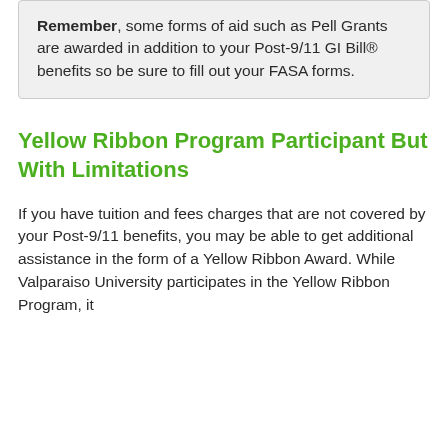Remember, some forms of aid such as Pell Grants are awarded in addition to your Post-9/11 GI Bill® benefits so be sure to fill out your FASA forms.
Yellow Ribbon Program Participant But With Limitations
If you have tuition and fees charges that are not covered by your Post-9/11 benefits, you may be able to get additional assistance in the form of a Yellow Ribbon Award. While Valparaiso University participates in the Yellow Ribbon Program, it